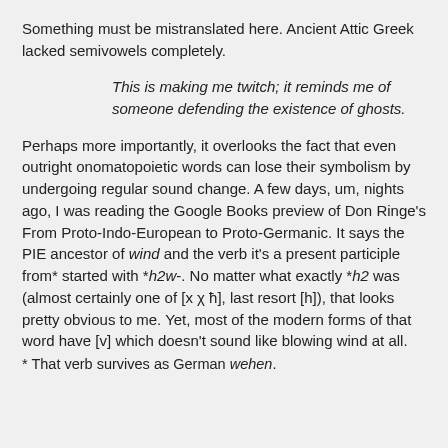Something must be mistranslated here. Ancient Attic Greek lacked semivowels completely.
This is making me twitch; it reminds me of someone defending the existence of ghosts.
Perhaps more importantly, it overlooks the fact that even outright onomatopoietic words can lose their symbolism by undergoing regular sound change. A few days, um, nights ago, I was reading the Google Books preview of Don Ringe’s From Proto-Indo-European to Proto-Germanic. It says the PIE ancestor of wind and the verb it’s a present participle from* started with *h2w-. No matter what exactly *h2 was (almost certainly one of [x χ ħ], last resort [h]), that looks pretty obvious to me. Yet, most of the modern forms of that word have [v] which doesn’t sound like blowing wind at all.
* That verb survives as German wehen.